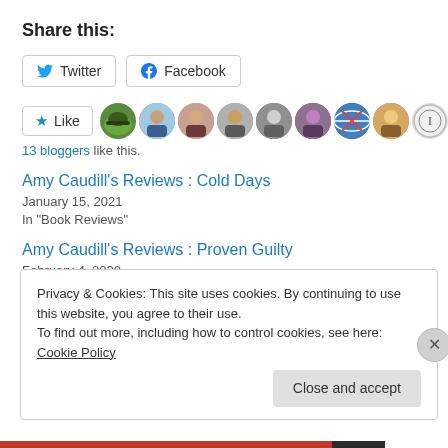Share this:
Twitter  Facebook (share buttons)
[Figure (infographic): Like button with star icon and 11 circular avatar photos of bloggers]
13 bloggers like this.
Amy Caudill's Reviews : Cold Days
January 15, 2021
In "Book Reviews"
Amy Caudill's Reviews : Proven Guilty
February 4, 2020
Privacy & Cookies: This site uses cookies. By continuing to use this website, you agree to their use.
To find out more, including how to control cookies, see here: Cookie Policy
Close and accept